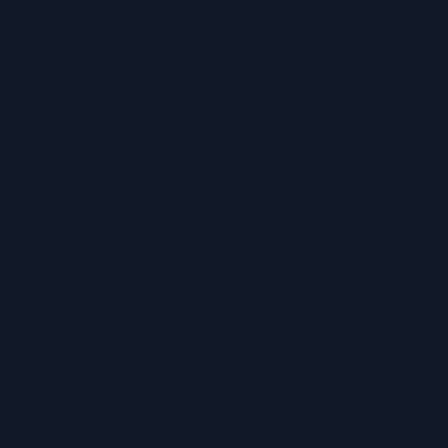[Figure (other): Solid dark navy blue background page with no visible text or other content elements. The background color is approximately #111827 (very dark blue-gray).]